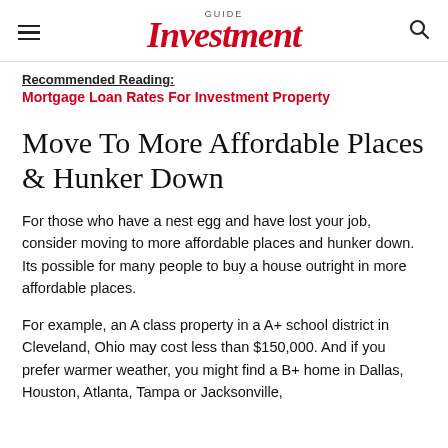GUIDE Investment
Recommended Reading:
Mortgage Loan Rates For Investment Property
Move To More Affordable Places & Hunker Down
For those who have a nest egg and have lost your job, consider moving to more affordable places and hunker down. Its possible for many people to buy a house outright in more affordable places.
For example, an A class property in a A+ school district in Cleveland, Ohio may cost less than $150,000. And if you prefer warmer weather, you might find a B+ home in Dallas, Houston, Atlanta, Tampa or Jacksonville,